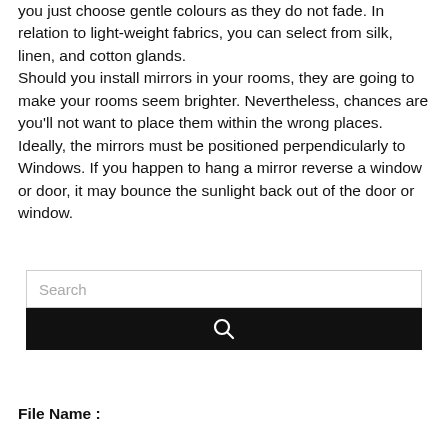you just choose gentle colours as they do not fade. In relation to light-weight fabrics, you can select from silk, linen, and cotton glands. Should you install mirrors in your rooms, they are going to make your rooms seem brighter. Nevertheless, chances are you'll not want to place them within the wrong places. Ideally, the mirrors must be positioned perpendicularly to Windows. If you happen to hang a mirror reverse a window or door, it may bounce the sunlight back out of the door or window.
[Figure (screenshot): Search input box with placeholder text 'Search' and a black search button with a magnifying glass icon below it.]
File Name :